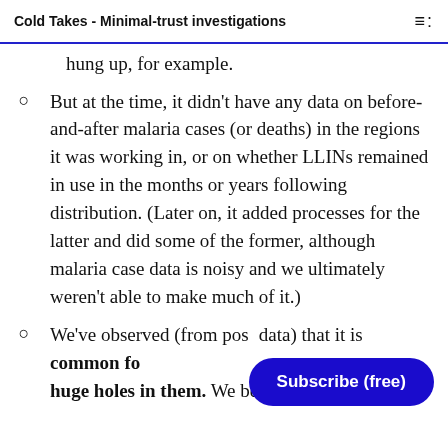Cold Takes - Minimal-trust investigations
hung up, for example.
But at the time, it didn't have any data on before-and-after malaria cases (or deaths) in the regions it was working in, or on whether LLINs remained in use in the months or years following distribution. (Later on, it added processes for the latter and did some of the former, although malaria case data is noisy and we ultimately weren't able to make much of it.)
We've observed (from post data) that it is common for huge holes in them. We believe that the